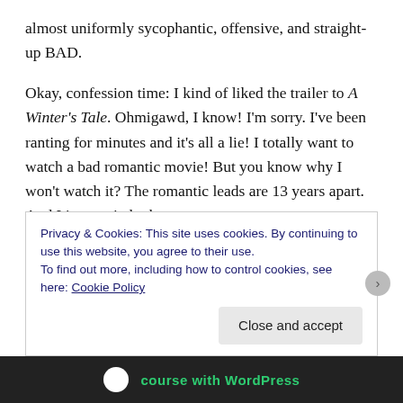almost uniformly sycophantic, offensive, and straight-up BAD.
Okay, confession time: I kind of liked the trailer to A Winter's Tale. Ohmigawd, I know! I'm sorry. I've been ranting for minutes and it's all a lie! I totally want to watch a bad romantic movie! But you know why I won't watch it? The romantic leads are 13 years apart. And I just can't do that anymore.
Because it's not just this one film. It seems like 90% of films released, genre be damned, the female lead is
Privacy & Cookies: This site uses cookies. By continuing to use this website, you agree to their use.
To find out more, including how to control cookies, see here: Cookie Policy
Close and accept
course with WordPress